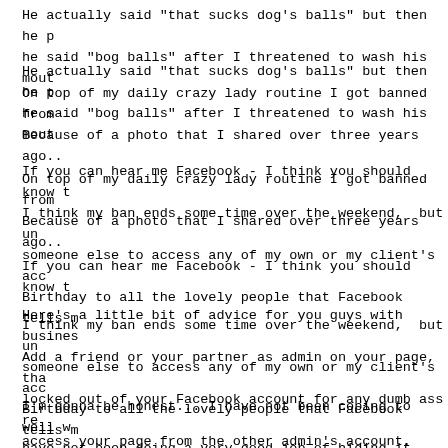He actually said "that sucks dog's balls" but then he p he said "bog balls" after I threatened to wash his mout
On top of my daily crazy lady routine I got banned from Because of a photo that I shared over three years ago..
If you can hear me Facebook - I think you should know t
I think my ban ends some time over the weekend,  but un someone else to access any of my own or my client's acc Birthday to all the lovely people that Facebook tells m
Here's a little bit of advice for you guys with busines Add a friend or your partner as admin on your page, tha locked out of your Facebook account for any dumb ass re access your page from the other admin's account.
I'm gonna be honest... I have not been coping to well w have not been doing a very good job of hiding it either ZERO patience and I even growled at someone at the traf